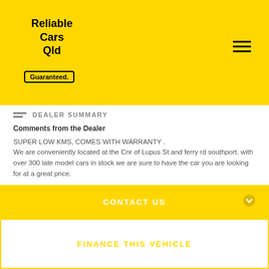Reliable Cars Qld Guaranteed.
DEALER SUMMARY
Comments from the Dealer
SUPER LOW KMS, COMES WITH WARRANTY .
We are conveniently located at the Cnr of Lupus St and ferry rd southport. with over 300 late model cars in stock we are sure to have the car you are looking for at a great price.

Buy with the added confidence that our Warranty and guaranteed clear title gives you. You won't get that from a private sale!!!...
Read More
RELIABLE USED CARS
1 Lupus Street Southport QLD 4215
CONTACT US
FINANCE THIS VEHICLE